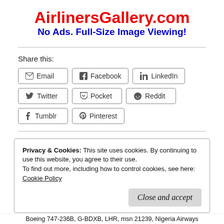AirlinersGallery.com
No Ads. Full-Size Image Viewing!
Share this:
Email | Facebook | LinkedIn | Twitter | Pocket | Reddit | Tumblr | Pinterest
Privacy & Cookies: This site uses cookies. By continuing to use this website, you agree to their use.
To find out more, including how to control cookies, see here:
Cookie Policy
Close and accept
Boeing 747-236B, G-BDXB, LHR, msn 21239, Nigeria Airways